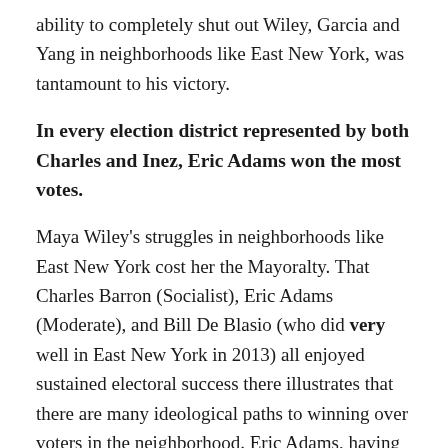ability to completely shut out Wiley, Garcia and Yang in neighborhoods like East New York, was tantamount to his victory.
In every election district represented by both Charles and Inez, Eric Adams won the most votes.
Maya Wiley's struggles in neighborhoods like East New York cost her the Mayoralty. That Charles Barron (Socialist), Eric Adams (Moderate), and Bill De Blasio (who did very well in East New York in 2013) all enjoyed sustained electoral success there illustrates that there are many ideological paths to winning over voters in the neighborhood. Eric Adams, having been born in Brownsville, related to and courted voters in East New York, in a way Wiley, a wealthier Ditmas Park resident and MSNBC contributor, never could. Since the